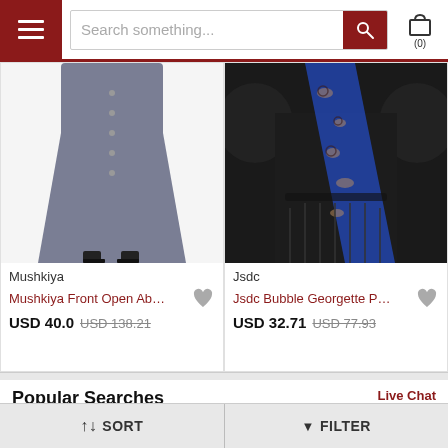Search something... (0)
[Figure (photo): Gray front-open abaya/skirt on a model, button details visible, worn with black heels]
Mushkiya
Mushkiya Front Open Abaya ...
USD 40.0  USD 138.21
[Figure (photo): Black bubble georgette printed dress on model with blue leopard print scarf/dupatta, puff sleeves]
Jsdc
Jsdc Bubble Georgette Printe...
USD 32.71  USD 77.93
Popular Searches
Live Chat
↑↓ SORT   ▼ FILTER